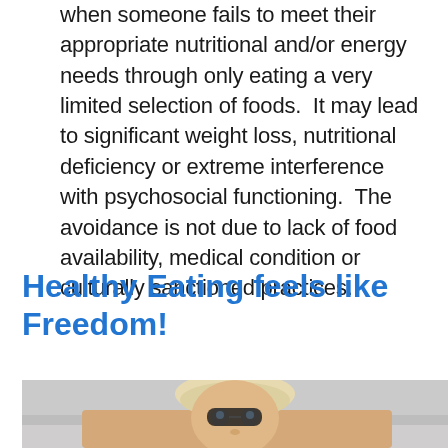when someone fails to meet their appropriate nutritional and/or energy needs through only eating a very limited selection of foods.  It may lead to significant weight loss, nutritional deficiency or extreme interference with psychosocial functioning.  The avoidance is not due to lack of food availability, medical condition or culturally sanctioned practices.
Healthy Eating feels like Freedom!
[Figure (photo): Photo of a person (appears to be a child or young person) wearing round sunglasses, looking upward, photographed from below against a light grey background.]